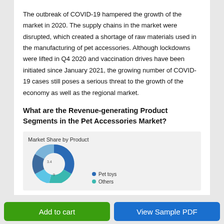The outbreak of COVID-19 hampered the growth of the market in 2020. The supply chains in the market were disrupted, which created a shortage of raw materials used in the manufacturing of pet accessories. Although lockdowns were lifted in Q4 2020 and vaccination drives have been initiated since January 2021, the growing number of COVID-19 cases still poses a serious threat to the growth of the economy as well as the regional market.
What are the Revenue-generating Product Segments in the Pet Accessories Market?
[Figure (donut-chart): Partial donut/pie chart showing Market Share by Product with legend items: Pet toys, Others (partially visible)]
Add to cart   View Sample PDF